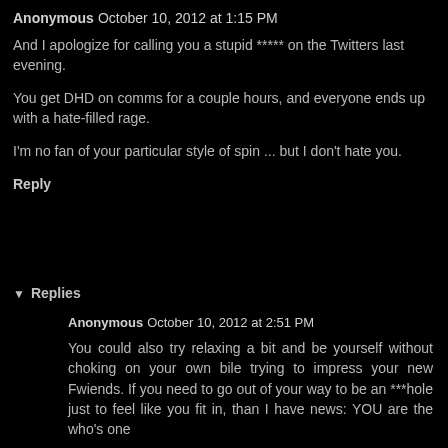Anonymous October 10, 2012 at 1:15 PM
And I apologize for calling you a stupid ***** on the Twitters last evening.
You get DHD on comms for a couple hours, and everyone ends up with a hate-filled rage.
I'm no fan of your particular style of spin ... but I don't hate you.
Reply
Replies
Anonymous October 10, 2012 at 2:51 PM
You could also try relaxing a bit and be yourself without choking on your own bile trying to impress your new Fwiends. If you need to go out of your way to be an ***hole just to feel like you fit in, than I have news: YOU are the who's one